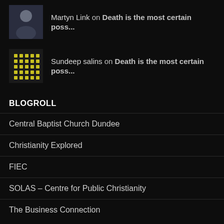Martyn Link on Death is the most certain poss...
Sundeep salins on Death is the most certain poss...
BLOGROLL
Central Baptist Church Dundee
Christianity Explored
FIEC
SOLAS – Centre for Public Christianity
The Business Connection
TWITTER